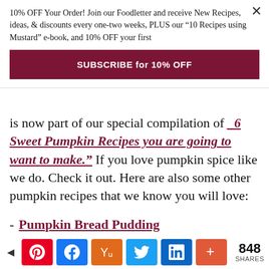10% OFF Your Order! Join our Foodletter and receive New Recipes, ideas, & discounts every one-two weeks, PLUS our “10 Recipes using Mustard” e-book, and 10% OFF your first
SUBSCRIBE for 10% OFF
is now part of our special compilation of “6 Sweet Pumpkin Recipes you are going to want to make.” If you love pumpkin spice like we do. Check it out. Here are also some other pumpkin recipes that we know you will love:
Pumpkin Bread Pudding